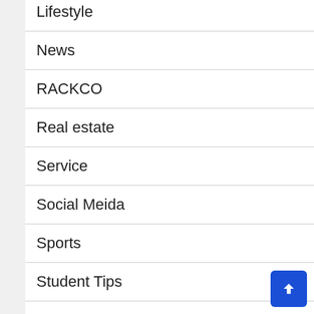Lifestyle
News
RACKCO
Real estate
Service
Social Meida
Sports
Student Tips
Technology